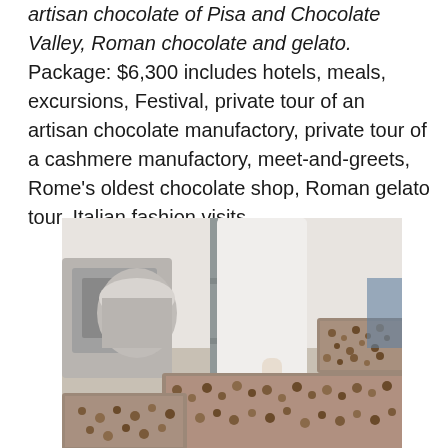artisan chocolate of Pisa and Chocolate Valley, Roman chocolate and gelato. Package: $6,300 includes hotels, meals, excursions, Festival, private tour of an artisan chocolate manufactory, private tour of a cashmere manufactory, meet-and-greets, Rome's oldest chocolate shop, Roman gelato tour, Italian fashion visits.
[Figure (photo): A person in white coat working at a chocolate manufactory, handling trays filled with chocolate pieces/cocoa nibs on a rack system, with stainless steel equipment in the background.]